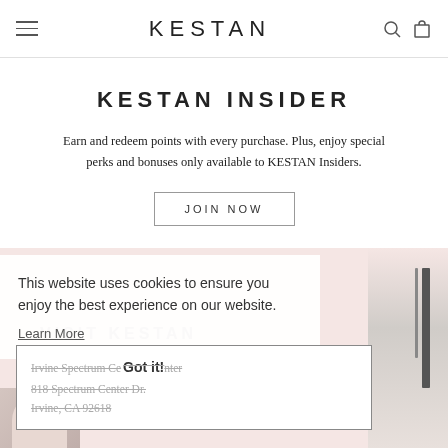KESTAN
KESTAN INSIDER
Earn and redeem points with every purchase. Plus, enjoy special perks and bonuses only available to KESTAN Insiders.
JOIN NOW
This website uses cookies to ensure you enjoy the best experience on our website. Learn More
VISIT KESTAN
Got it!
Irvine Spectrum Center
818 Spectrum Center Dr.
Irvine, CA 92618